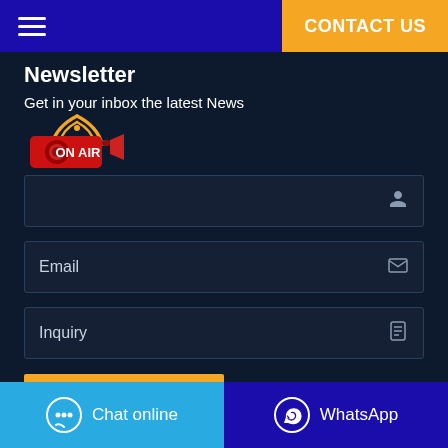CONTACT US
Newsletter
Get in your inbox the latest News
[Figure (logo): ON AIR badge with red camera and WiFi signal icon]
Email
Inquiry
SUBSCRIBE
Chat online
WhatsApp